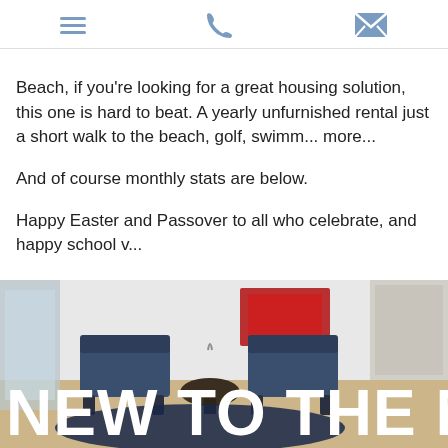[menu icon] [phone icon] [email icon]
Beach, if you're looking for a great housing solution, this one is hard to beat. A yearly unfurnished rental just a short walk to the beach, golf, swimm... more...
And of course monthly stats are below.
Happy Easter and Passover to all who celebrate, and happy school v...
My best regards,
Joni
[Figure (photo): Interior room photo showing two dark blue armchairs on a hardwood floor with a blue fur rug, white walls, red artwork, with bold white text overlay reading 'NEW TO THE MA']